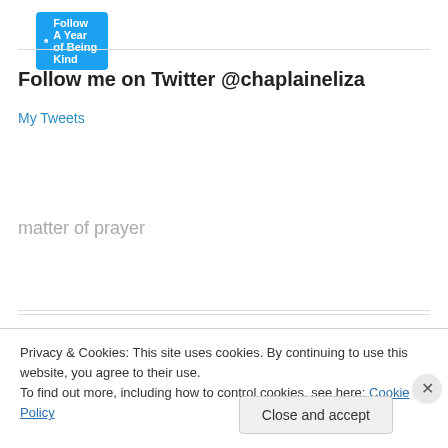[Figure (logo): WordPress Follow button with W logo: 'Follow A Year of Being Kind']
Follow me on Twitter @chaplaineliza
My Tweets
matter of prayer
A Year of Being Kind T-Shirt
Privacy & Cookies: This site uses cookies. By continuing to use this website, you agree to their use.
To find out more, including how to control cookies, see here: Cookie Policy